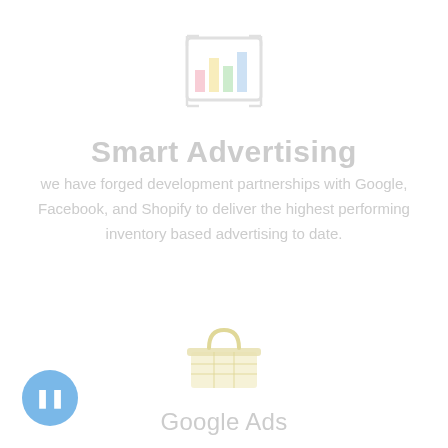[Figure (illustration): Bar chart icon with colored bars (pink, yellow, green, blue) inside a rectangular frame, very light/faded]
Smart Advertising
we have forged development partnerships with Google, Facebook, and Shopify to deliver the highest performing inventory based advertising to date.
[Figure (illustration): Shopping basket or gift box icon in light yellow/cream color, faded]
Google Ads
[Figure (other): Blue circular navigation button with a pause/stop icon]